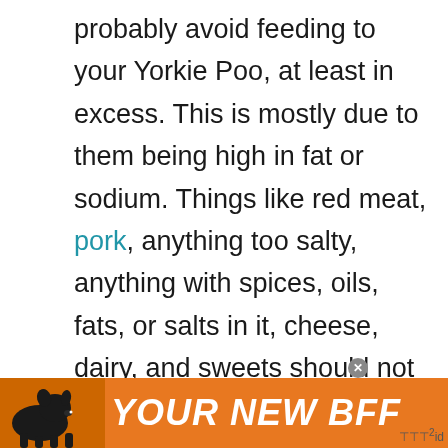probably avoid feeding to your Yorkie Poo, at least in excess. This is mostly due to them being high in fat or sodium. Things like red meat, pork, anything too salty, anything with spices, oils, fats, or salts in it, cheese, dairy, and sweets should not be given to your Yorkie Poo, especially in excess.
These foods can cause unnecessary weight gain, which can put stress on not only your dog's insides but also its joints. They cause gastrointestinal distress with symptoms
[Figure (other): Advertisement banner with orange background showing a dog silhouette and text 'YOUR NEW BFF']